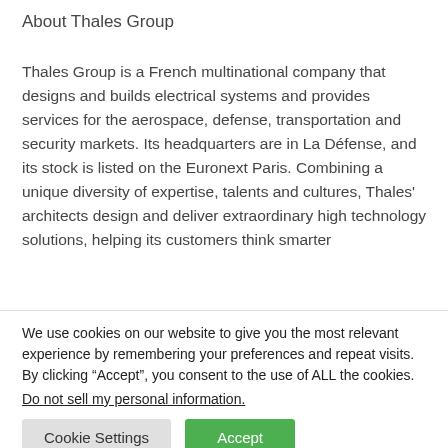About Thales Group
Thales Group is a French multinational company that designs and builds electrical systems and provides services for the aerospace, defense, transportation and security markets. Its headquarters are in La Défense, and its stock is listed on the Euronext Paris. Combining a unique diversity of expertise, talents and cultures, Thales' architects design and deliver extraordinary high technology solutions, helping its customers think smarter
We use cookies on our website to give you the most relevant experience by remembering your preferences and repeat visits. By clicking “Accept”, you consent to the use of ALL the cookies.
Do not sell my personal information.